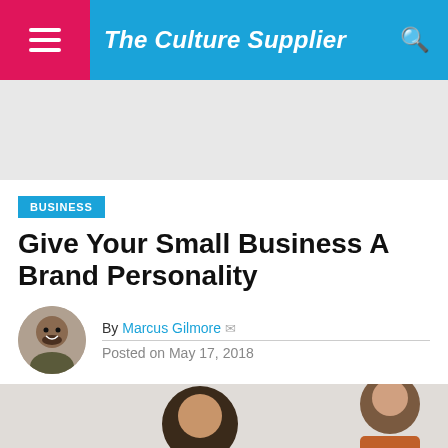The Culture Supplier
[Figure (other): Gray advertisement placeholder banner]
BUSINESS
Give Your Small Business A Brand Personality
By Marcus Gilmore  Posted on May 17, 2018
[Figure (photo): Hero image showing people in a meeting or discussion, partially visible at bottom of page]